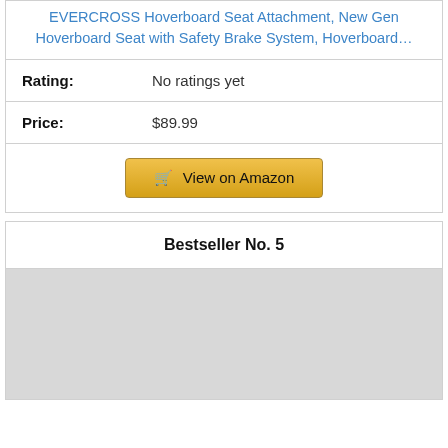EVERCROSS Hoverboard Seat Attachment, New Gen Hoverboard Seat with Safety Brake System, Hoverboard…
Rating: No ratings yet
Price: $89.99
View on Amazon
Bestseller No. 5
[Figure (photo): Product image placeholder (gray rectangle)]